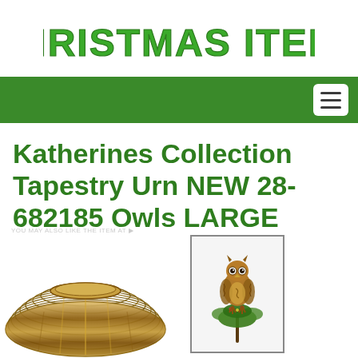Christmas Items
[Figure (screenshot): Green navigation bar with hamburger menu button on the right]
Katherines Collection Tapestry Urn NEW 28-682185 Owls LARGE
[Figure (photo): Decorative urn with brown and gold striped pattern (bottom left) and thumbnail photo of an ornate owl figurine on a perch with decorative foliage (right)]